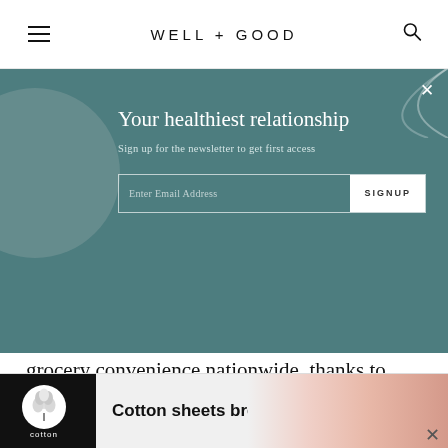WELL+GOOD
[Figure (screenshot): Newsletter signup overlay with teal background, decorative circle, title 'Your healthiest relationship', subtitle 'Sign up for the newsletter to get first access', email input field and SIGNUP button]
grocery convenience nationwide, thanks to Prime Now's same-day delivery. Phew.
Keep in mind, Amazon's grocery advantage may not last long: Walmart and Costco are catching up
[Figure (screenshot): Cotton advertisement banner showing Cotton logo and text 'Cotton sheets breathe' with pink fabric image on right]